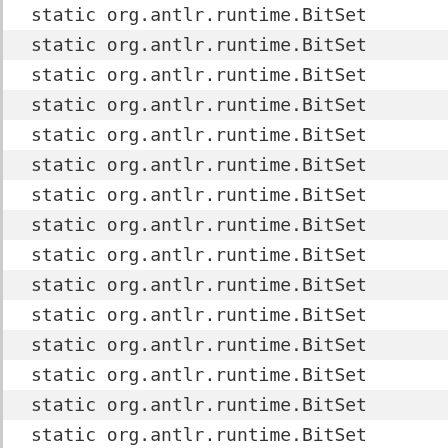| static org.antlr.runtime.BitSet |
| static org.antlr.runtime.BitSet |
| static org.antlr.runtime.BitSet |
| static org.antlr.runtime.BitSet |
| static org.antlr.runtime.BitSet |
| static org.antlr.runtime.BitSet |
| static org.antlr.runtime.BitSet |
| static org.antlr.runtime.BitSet |
| static org.antlr.runtime.BitSet |
| static org.antlr.runtime.BitSet |
| static org.antlr.runtime.BitSet |
| static org.antlr.runtime.BitSet |
| static org.antlr.runtime.BitSet |
| static org.antlr.runtime.BitSet |
| static org.antlr.runtime.BitSet |